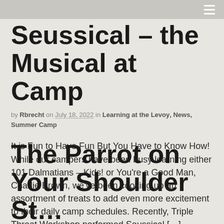Seussical – the Musical at Camp
by Rbrecht on July 18, 2022 in Learning at the Levoy, News, Summer Camp
It is Fun to Have Fun But You Have to Know How! While our campers have been busy learning either 101 Dalmatians – Kids! or You're a Good Man, Charlie Brown, we've been cooking up an assortment of treats to add even more excitement to their daily camp schedules. Recently, Triple Threat Workshop performed Seussical […]
The Parrot on Your Shoulder St…